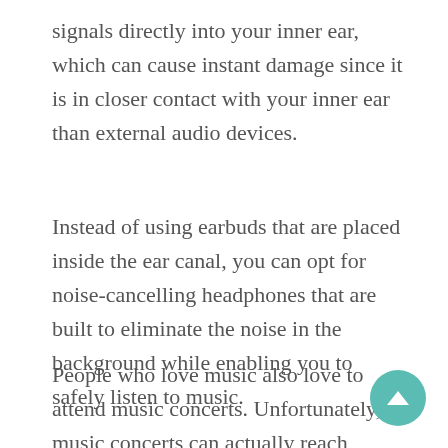signals directly into your inner ear, which can cause instant damage since it is in closer contact with your inner ear than external audio devices.
Instead of using earbuds that are placed inside the ear canal, you can opt for noise-cancelling headphones that are built to eliminate the noise in the background while enabling you to safely listen to music.
People who love music also love to attend music concerts. Unfortunately, music concerts can actually reach unsafe levels of